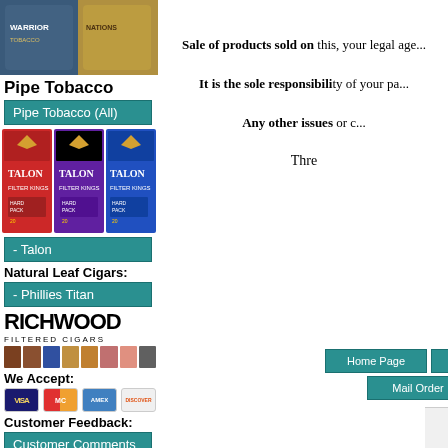[Figure (photo): Pipe tobacco product images - two bags of tobacco]
Pipe Tobacco
Pipe Tobacco (All)
[Figure (photo): Three Talon cigarette packs - red, purple, and blue hard pack]
- Talon
Natural Leaf Cigars:
- Phillies Titan
[Figure (logo): RICHWOOD FILTERED CIGARS logo]
[Figure (photo): Row of colored cigar pack thumbnails]
We Accept:
[Figure (photo): Credit card logos: Visa, MasterCard, American Express, Discover]
Customer Feedback:
Customer Comments
Price List:
- Price List
Sale of products sold on this, your legal age...
It is the sole responsibility of your pa...
Any other issues or c...
Thre
Home Page
Native Cigars
Filt
Mail Order
Shipping Policy